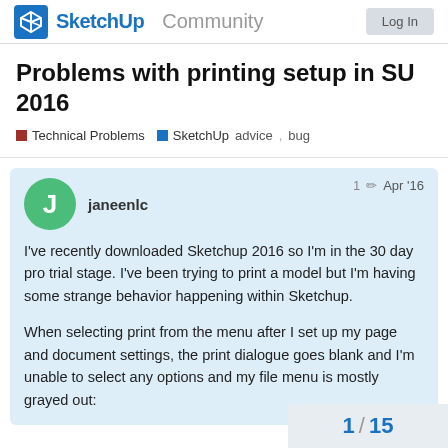SketchUp Community
Problems with printing setup in SU 2016
Technical Problems  SketchUp  advice, bug
janeenlc  1  Apr '16

I've recently downloaded Sketchup 2016 so I'm in the 30 day pro trial stage. I've been trying to print a model but I'm having some strange behavior happening within Sketchup.

When selecting print from the menu after I set up my page and document settings, the print dialogue goes blank and I'm unable to select any options and my file menu is mostly grayed out:
1 / 15